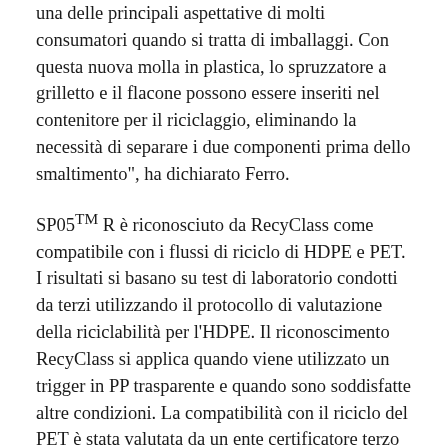una delle principali aspettative di molti consumatori quando si tratta di imballaggi. Con questa nuova molla in plastica, lo spruzzatore a grilletto e il flacone possono essere inseriti nel contenitore per il riciclaggio, eliminando la necessità di separare i due componenti prima dello smaltimento", ha dichiarato Ferro.
SP05TM R è riconosciuto da RecyClass come compatibile con i flussi di riciclo di HDPE e PET. I risultati si basano su test di laboratorio condotti da terzi utilizzando il protocollo di valutazione della riciclabilità per l'HDPE. Il riconoscimento RecyClass si applica quando viene utilizzato un trigger in PP trasparente e quando sono soddisfatte altre condizioni. La compatibilità con il riciclo del PET è stata valutata da un ente certificatore terzo riconosciuto da RecyClass e ha confermato il comportamento di separabilità di questo trigger in PP durante il processo di riciclo del PET. Infine, SP05TM R è compatibile anche con il flusso di riciclo del PP, in quanto il